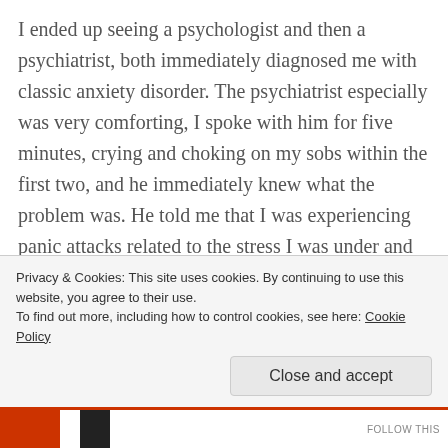I ended up seeing a psychologist and then a psychiatrist, both immediately diagnosed me with classic anxiety disorder. The psychiatrist especially was very comforting, I spoke with him for five minutes, crying and choking on my sobs within the first two, and he immediately knew what the problem was. He told me that I was experiencing panic attacks related to the stress I was under and he explained the science of what was going on in my brain when I had these emotions. He prescribed me zoloft and klonopin, the former as a long term solution, the latter as a short term. I and my family
Privacy & Cookies: This site uses cookies. By continuing to use this website, you agree to their use.
To find out more, including how to control cookies, see here: Cookie Policy
Close and accept